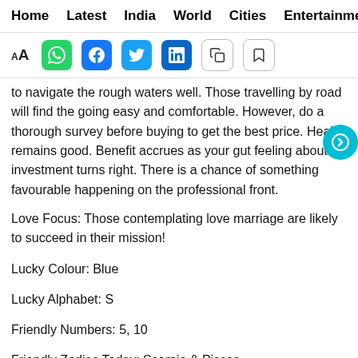Home  Latest  India  World  Cities  Entertainment
to navigate the rough waters well. Those travelling by road will find the going easy and comfortable. However, do a thorough survey before buying to get the best price. Health remains good. Benefit accrues as your gut feeling about an investment turns right. There is a chance of something favourable happening on the professional front.
Love Focus: Those contemplating love marriage are likely to succeed in their mission!
Lucky Colour: Blue
Lucky Alphabet: S
Friendly Numbers: 5, 10
Friendly Zodiac Today: Scorpio & Pisces